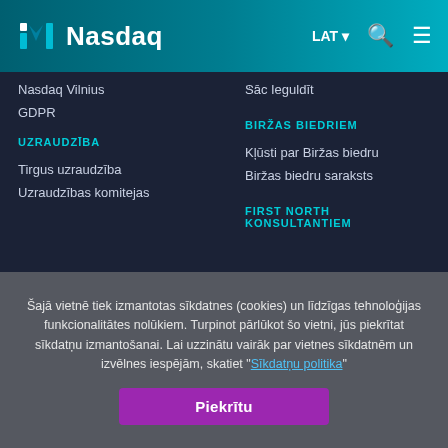Nasdaq — LAT navigation header with search and menu icons
Nasdaq Vilnius
GDPR
UZRAUDZĪBA
Tirgus uzraudzība
Uzraudzības komitejas
Sāc Ieguldīt
BIRŽAS BIEDRIEM
Kļūsti par Biržas biedru
Biržas biedru saraksts
FIRST NORTH KONSULTANTIEM
Šajā vietnē tiek izmantotas sīkdatnes (cookies) un līdzīgas tehnoloģijas funkcionalitātes nolūkiem. Turpinot pārlūkot šo vietni, jūs piekrītat sīkdatņu izmantošanai. Lai uzzinātu vairāk par vietnes sīkdatnēm un izvēlnes iespējām, skatiet "Sīkdatņu politika"
Piekrītu